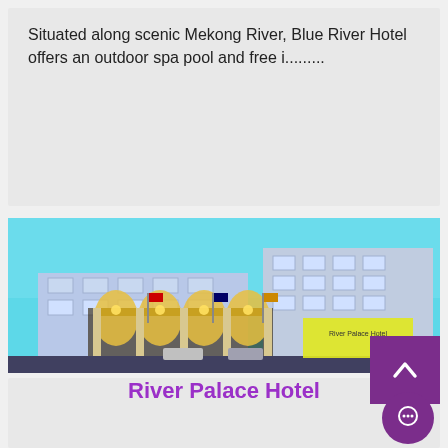Situated along scenic Mekong River, Blue River Hotel offers an outdoor spa pool and free i.........
[Figure (photo): Exterior photo of River Palace Hotel at night/dusk with cyan/blue sky background. Grand white multi-story building with illuminated arched entrance, flags in front, and a yellow hotel sign on right side reading River Palace Hotel.]
River Palace Hotel